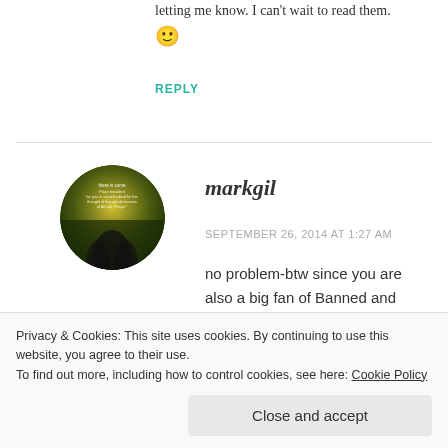letting me know. I can't wait to read them. 🙂
REPLY
[Figure (photo): Round avatar image for user markgil showing a dark atmospheric scene with text overlay]
markgil
SEPTEMBER 26, 2014 AT 1:27 AM
no problem-btw since you are also a big fan of Banned and Banished, you
Privacy & Cookies: This site uses cookies. By continuing to use this website, you agree to their use.
To find out more, including how to control cookies, see here: Cookie Policy
Close and accept